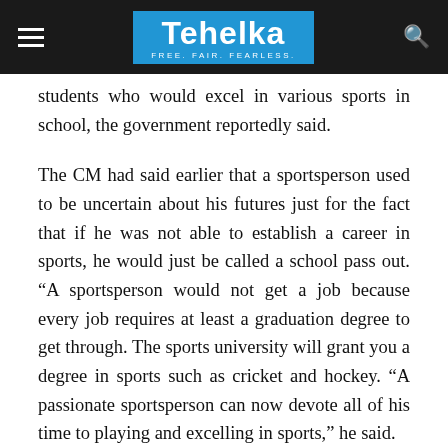Tehelka — FREE. FAIR. FEARLESS.
students who would excel in various sports in school, the government reportedly said.
The CM had said earlier that a sportsperson used to be uncertain about his futures just for the fact that if he was not able to establish a career in sports, he would just be called a school pass out. “A sportsperson would not get a job because every job requires at least a graduation degree to get through. The sports university will grant you a degree in sports such as cricket and hockey. “A passionate sportsperson can now devote all of his time to playing and excelling in sports,” he said.
A sportsperson’s graduation, post-graduation and